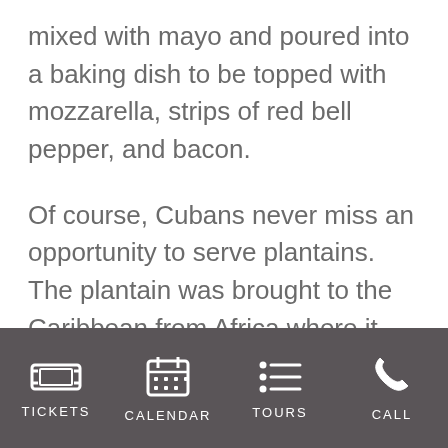mixed with mayo and poured into a baking dish to be topped with mozzarella, strips of red bell pepper, and bacon.

Of course, Cubans never miss an opportunity to serve plantains. The plantain was brought to the Caribbean from Africa where it has become a standard side dish for many meals from breakfast to dinner. With imperial rice, fried, mature plantains are served. These are called “platanitos maduros” and they
TICKETS   CALENDAR   TOURS   CALL